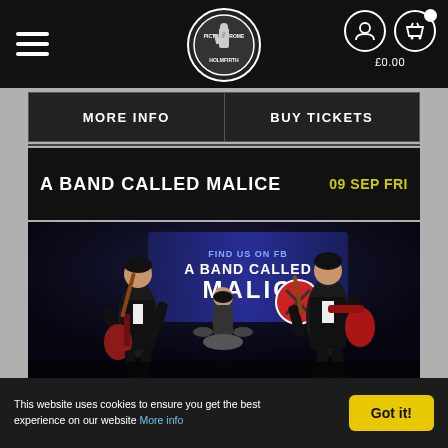Picturedrome Holmfirth — navigation header with logo, menu, account and basket icons, £0.00
MORE INFO | BUY TICKETS
A BAND CALLED MALICE
09 SEP FRI
[Figure (photo): Two guitarists in black suits performing on stage energetically in front of a large 'A Band Called Malice' banner, with a drummer in the background]
This website uses cookies to ensure you get the best experience on our website More info
Got it!